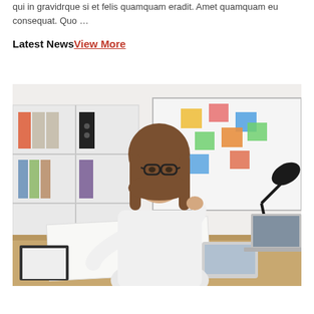qui in gravidrque si et felis quamquam eradit. Amet quamquam eu consequat. Quo …
Latest News View More
[Figure (photo): A young woman with glasses and long brown hair wearing a white blouse, sitting at a wooden desk writing on large paper with a pen. Behind her are white shelving units with binders and folders, and a whiteboard with colorful sticky notes. A black desk lamp is on the right side, and a laptop and tablet are on the desk.]